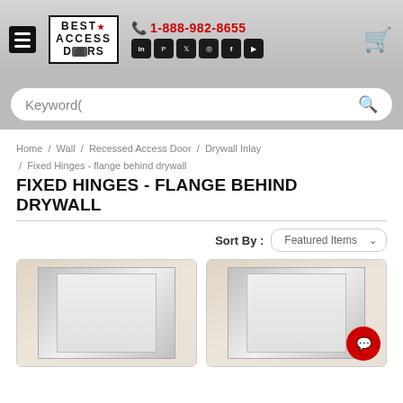Best Access Doors | 1-888-982-8655 | Social media icons | Cart
Keyword(
Home / Wall / Recessed Access Door / Drywall Inlay / Fixed Hinges - flange behind drywall
FIXED HINGES - FLANGE BEHIND DRYWALL
Sort By : Featured Items
[Figure (photo): Product photo of fixed hinges access door panel with flange behind drywall - left item]
[Figure (photo): Product photo of fixed hinges access door panel with flange behind drywall - right item]